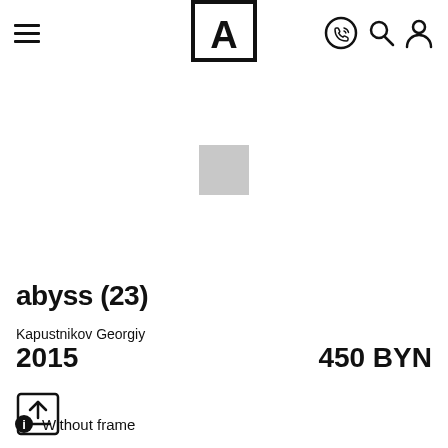Navigation header with hamburger menu, logo [A], phone, search, and account icons
[Figure (photo): Small gray square placeholder thumbnail for artwork image]
abyss (23)
Kapustnikov Georgiy
2015
450 BYN
[Figure (other): Share/export icon button]
Without frame